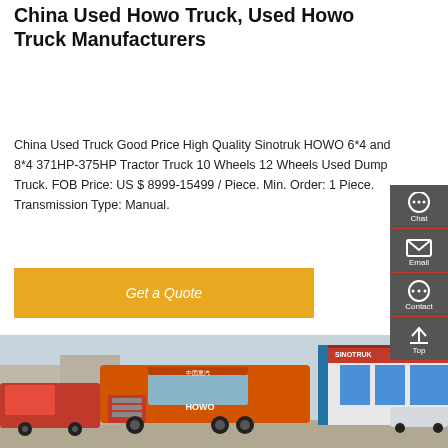China Used Howo Truck, Used Howo Truck Manufacturers
China Used Truck Good Price High Quality Sinotruk HOWO 6*4 and 8*4 371HP-375HP Tractor Truck 10 Wheels 12 Wheels Used Dump Truck. FOB Price: US $ 8999-15499 / Piece. Min. Order: 1 Piece. Transmission Type: Manual.
[Figure (other): Orange HOWO truck parked in front of a dealership building with red and blue signage]
[Figure (infographic): Sidebar with Chat, Email, Contact, and Top navigation buttons on dark gray background]